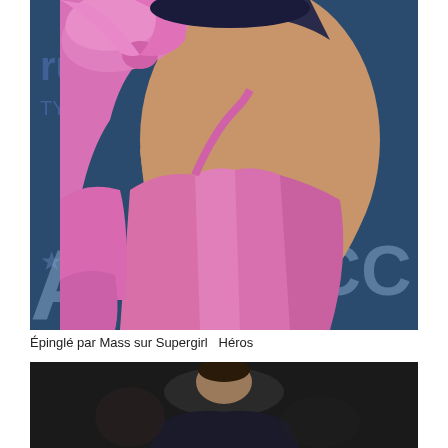[Figure (photo): Woman in backless pink dress with large bow at shoulder, photographed from behind at what appears to be an awards event with a blue star-patterned backdrop]
Épinglé par Mass sur Supergirl  Héros
[Figure (photo): Man in dark clothing photographed against a dark background, possibly at an event]